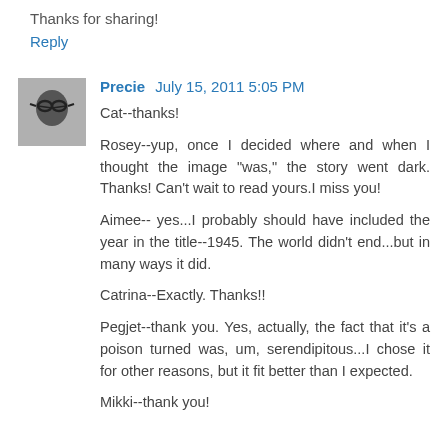Thanks for sharing!
Reply
Precie  July 15, 2011 5:05 PM
Cat--thanks!

Rosey--yup, once I decided where and when I thought the image "was," the story went dark. Thanks! Can't wait to read yours.I miss you!

Aimee-- yes...I probably should have included the year in the title--1945. The world didn't end...but in many ways it did.

Catrina--Exactly. Thanks!!

Pegjet--thank you. Yes, actually, the fact that it's a poison turned was, um, serendipitous...I chose it for other reasons, but it fit better than I expected.

Mikki--thank you!